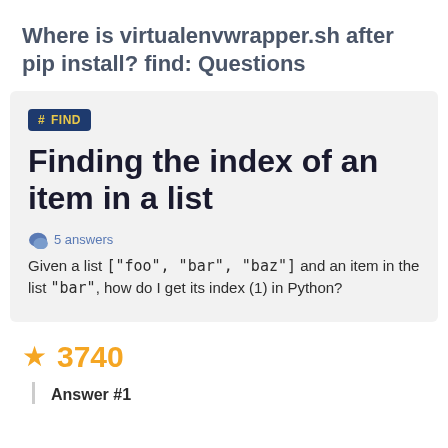Where is virtualenvwrapper.sh after pip install? find: Questions
# FIND
Finding the index of an item in a list
5 answers
Given a list ["foo", "bar", "baz"] and an item in the list "bar", how do I get its index (1) in Python?
★ 3740
Answer #1